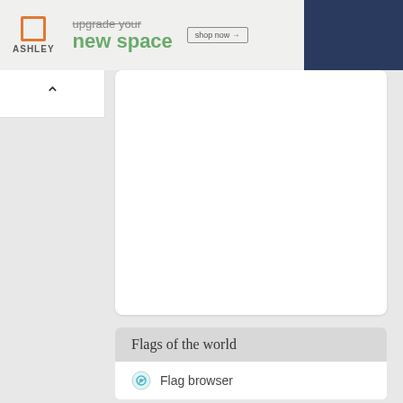[Figure (screenshot): Ashley Furniture advertisement banner showing logo, 'upgrade your new space' tagline, shop now button, and a dark blue sofa image on the right]
[Figure (screenshot): A collapse/minimize tab button with an upward-pointing caret arrow]
[Figure (screenshot): White content panel area - appears blank/empty]
Flags of the world
Flag browser